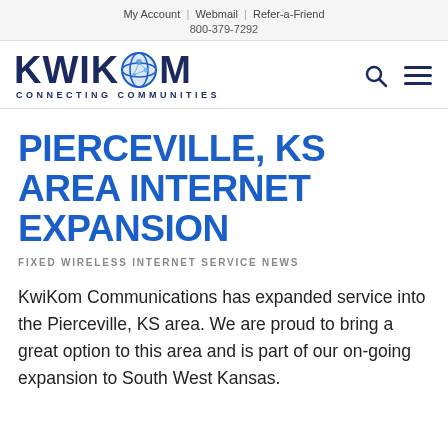My Account | Webmail | Refer-a-Friend
800-379-7292
[Figure (logo): KwiKom Connecting Communities logo with globe icon]
PIERCEVILLE, KS AREA INTERNET EXPANSION
FIXED WIRELESS INTERNET SERVICE NEWS
KwiKom Communications has expanded service into the Pierceville, KS area. We are proud to bring a great option to this area and is part of our on-going expansion to South West Kansas.